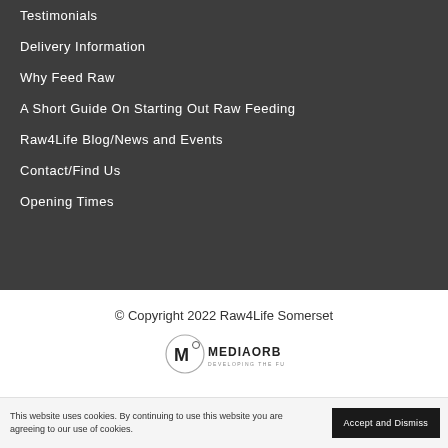Testimonials
Delivery Information
Why Feed Raw
A Short Guide On Starting Out Raw Feeding
Raw4Life Blog/News and Events
Contact/Find Us
Opening Times
© Copyright 2022 Raw4Life Somerset
[Figure (logo): MediaOrb logo with circular M mark and text MEDIAORB DEVELOPING THE FUTURE]
This website uses cookies. By continuing to use this website you are agreeing to our use of cookies.